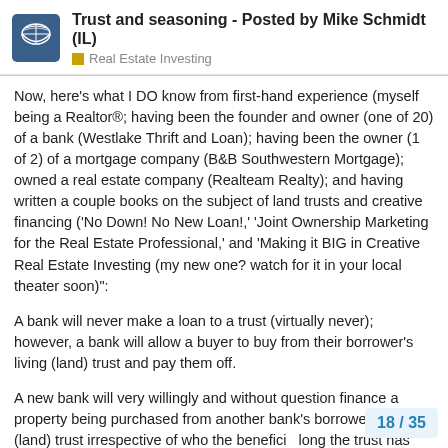Trust and seasoning - Posted by Mike Schmidt (IL)
Real Estate Investing
Now, here's what I DO know from first-hand experience (myself being a Realtor®; having been the founder and owner (one of 20) of a bank (Westlake Thrift and Loan); having been the owner (1 of 2) of a mortgage company (B&B Southwestern Mortgage); owned a real estate company (Realteam Realty); and having written a couple books on the subject of land trusts and creative financing ('No Down! No New Loan!,' 'Joint Ownership Marketing for the Real Estate Professional,' and 'Making it BIG in Creative Real Estate Investing (my new one? watch for it in your local theater soon)":
A bank will never make a loan to a trust (virtually never); however, a bank will allow a buyer to buy from their borrower's living (land) trust and pay them off.
A new bank will very willingly and without question finance a property being purchased from another bank's borrower's living (land) trust irrespective of who the benefici  long the trust has been in existence. I assi
18 / 35